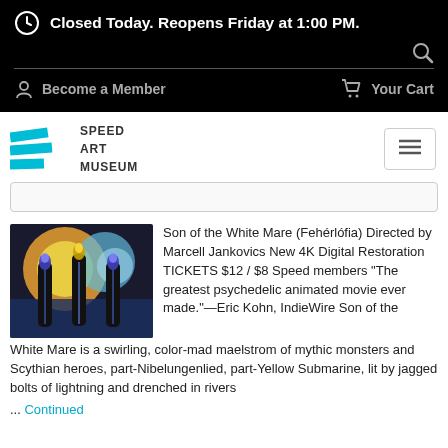Closed Today. Reopens Friday at 1:00 PM.
Become a Member   Your Cart
[Figure (logo): Speed Art Museum logo with teal geometric shapes and text SPEED ART MUSEUM]
[Figure (photo): Animated film still showing three dark figures with glowing heads against colorful circular background]
Son of the White Mare (Fehérlófia) Directed by Marcell Jankovics New 4K Digital Restoration TICKETS $12 / $8 Speed members “The greatest psychedelic animated movie ever made.”—Eric Kohn, IndieWire Son of the White Mare is a swirling, color-mad maelstrom of mythic monsters and Scythian heroes, part-Nibelungenlied, part-Yellow Submarine, lit by jagged bolts of lightning and drenched in rivers ... Continued